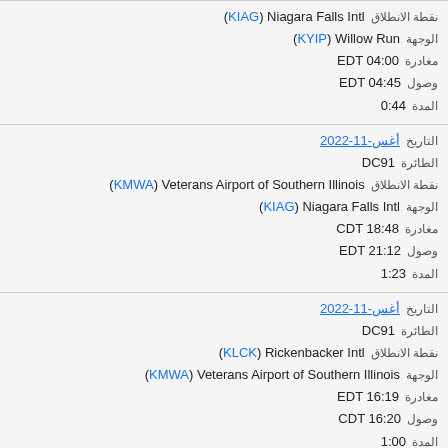نقطة الانطلاق (KIAG) Niagara Falls Intl
الوجهة (KYIP) Willow Run
مغادرة EDT 04:00
وصول EDT 04:45
المدة 0:44
التاريخ 2022-11-أغس
الطائرة DC91
نقطة الانطلاق (KMWA) Veterans Airport of Southern Illinois
الوجهة (KIAG) Niagara Falls Intl
مغادرة CDT 18:48
وصول EDT 21:12
المدة 1:23
التاريخ 2022-11-أغس
الطائرة DC91
نقطة الانطلاق (KLCK) Rickenbacker Intl
الوجهة (KMWA) Veterans Airport of Southern Illinois
مغادرة EDT 16:19
وصول CDT 16:20
المدة 1:00
التاريخ 2022-10-أغس